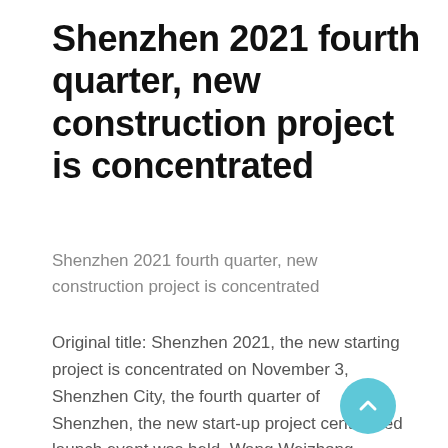Shenzhen 2021 fourth quarter, new construction project is concentrated
Shenzhen 2021 fourth quarter, new construction project is concentrated
Original title: Shenzhen 2021, the new starting project is concentrated on November 3, Shenzhen City, the fourth quarter of Shenzhen, the new start-up project centralized launch event was held. Wang Weizhong, secretary of the Shenzhen Municipal Party Committee, attended the event and announced its work.